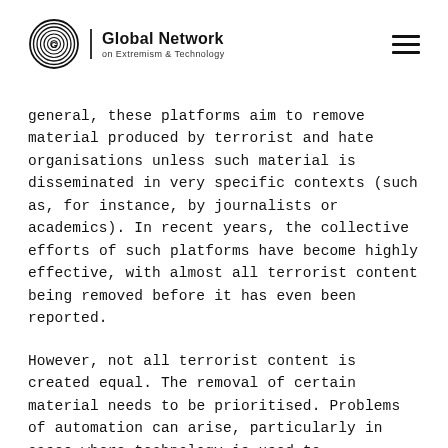[Figure (logo): Global Network on Extremism & Technology logo with circular fingerprint-style emblem and organization name]
general, these platforms aim to remove material produced by terrorist and hate organisations unless such material is disseminated in very specific contexts (such as, for instance, by journalists or academics). In recent years, the collective efforts of such platforms have become highly effective, with almost all terrorist content being removed before it has even been reported.
However, not all terrorist content is created equal. The removal of certain material needs to be prioritised. Problems of automation can arise, particularly in cases where technology is used to